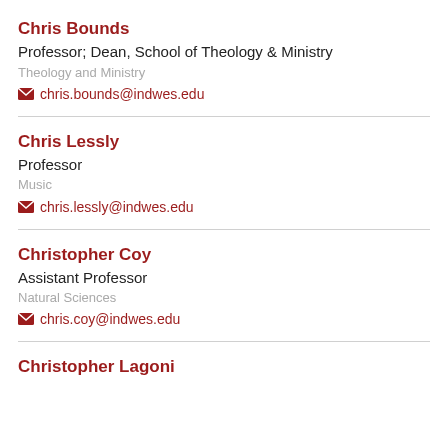Chris Bounds
Professor; Dean, School of Theology & Ministry
Theology and Ministry
chris.bounds@indwes.edu
Chris Lessly
Professor
Music
chris.lessly@indwes.edu
Christopher Coy
Assistant Professor
Natural Sciences
chris.coy@indwes.edu
Christopher Lagoni